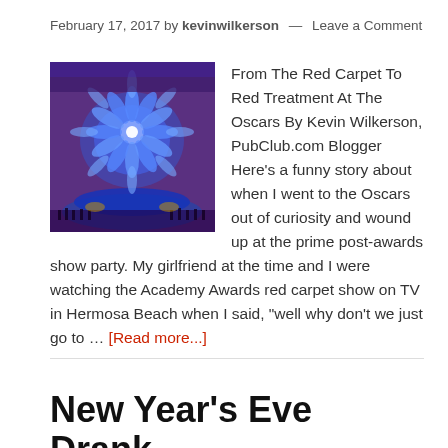February 17, 2017 by kevinwilkerson — Leave a Comment
[Figure (photo): A large colorful event venue with blue and purple lighting, illuminated floral stage decoration, and crowds of people in formal attire — related to the Oscars awards show.]
From The Red Carpet To Red Treatment At The Oscars By Kevin Wilkerson, PubClub.com Blogger Here's a funny story about when I went to the Oscars out of curiosity and wound up at the prime post-awards show party. My girlfriend at the time and I were watching the Academy Awards red carpet show on TV in Hermosa Beach when I said, "well why don't we just go to … [Read more...]
New Year's Eve Drank